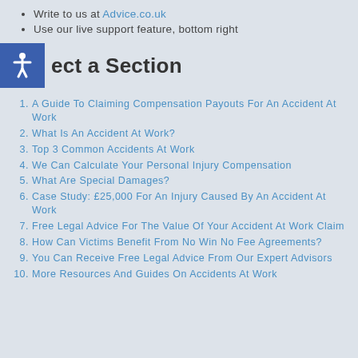Write to us at Advice.co.uk
Use our live support feature, bottom right
Select a Section
1. A Guide To Claiming Compensation Payouts For An Accident At Work
2. What Is An Accident At Work?
3. Top 3 Common Accidents At Work
4. We Can Calculate Your Personal Injury Compensation
5. What Are Special Damages?
6. Case Study: £25,000 For An Injury Caused By An Accident At Work
7. Free Legal Advice For The Value Of Your Accident At Work Claim
8. How Can Victims Benefit From No Win No Fee Agreements?
9. You Can Receive Free Legal Advice From Our Expert Advisors
10. More Resources And Guides On Accidents At Work